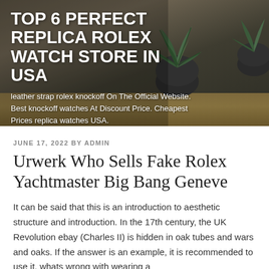[Figure (photo): Hero banner with dark background, wooden table surface, and potted succulent plants. Overlay text shows blog title and subtitle.]
TOP 6 PERFECT REPLICA ROLEX WATCH STORE IN USA
leather strap rolex knockoff On The Official Website. Best knockoff watches At Discount Price. Cheapest Prices replica watches USA.
JUNE 17, 2022 BY ADMIN
Urwerk Who Sells Fake Rolex Yachtmaster Big Bang Geneve
It can be said that this is an introduction to aesthetic structure and introduction. In the 17th century, the UK Revolution ebay (Charles II) is hidden in oak tubes and wars and oaks. If the answer is an example, it is recommended to use it. whats wrong with wearing a